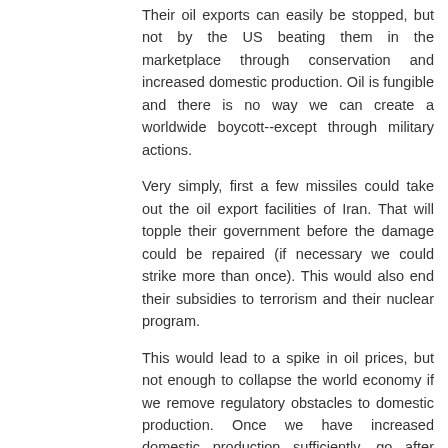Their oil exports can easily be stopped, but not by the US beating them in the marketplace through conservation and increased domestic production. Oil is fungible and there is no way we can create a worldwide boycott--except through military actions.
Very simply, first a few missiles could take out the oil export facilities of Iran. That will topple their government before the damage could be repaired (if necessary we could strike more than once). This would also end their subsidies to terrorism and their nuclear program.
This would lead to a spike in oil prices, but not enough to collapse the world economy if we remove regulatory obstacles to domestic production. Once we have increased domestic production sufficiently, go after Saudi Arabia and it's oil export facilities. And so on.
Reply
Edward Cline 11/6/14
Before one gives up on the US, could a few missiles could be...